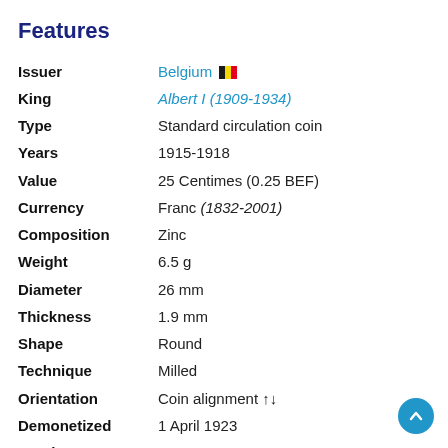Features
| Field | Value |
| --- | --- |
| Issuer | Belgium 🇧🇪 |
| King | Albert I (1909-1934) |
| Type | Standard circulation coin |
| Years | 1915-1918 |
| Value | 25 Centimes (0.25 BEF) |
| Currency | Franc (1832-2001) |
| Composition | Zinc |
| Weight | 6.5 g |
| Diameter | 26 mm |
| Thickness | 1.9 mm |
| Shape | Round |
| Technique | Milled |
| Orientation | Coin alignment ↑↓ |
| Demonetized | 1 April 1923 |
| Number | N#513 |
| References | KM#82, LA#BFM-57, Schön#47 |